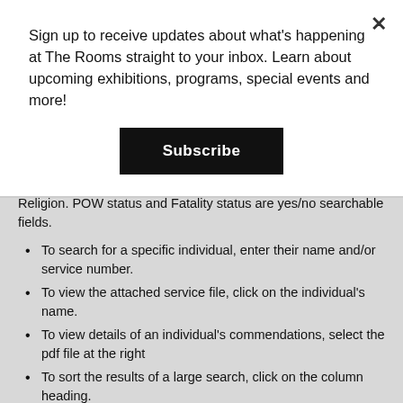Sign up to receive updates about what's happening at The Rooms straight to your inbox. Learn about upcoming exhibitions, programs, special events and more!
[Figure (other): Subscribe button - black rectangle with white bold text 'Subscribe']
Religion. POW status and Fatality status are yes/no searchable fields.
To search for a specific individual, enter their name and/or service number.
To view the attached service file, click on the individual's name.
To view details of an individual's commendations, select the pdf file at the right
To sort the results of a large search, click on the column heading.
To search for Prisoners of War, use the keyword POW.
Notes concerning variant names, misfiled documents,